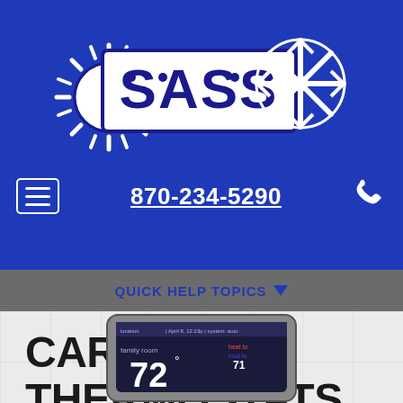[Figure (logo): SASS company logo with sun and snowflake graphics on blue background]
870-234-5290
QUICK HELP TOPICS
CARRIER THERMOSTATS
[Figure (photo): Partial view of a Carrier thermostat device showing digital display with temperature 72 degrees and family room display]